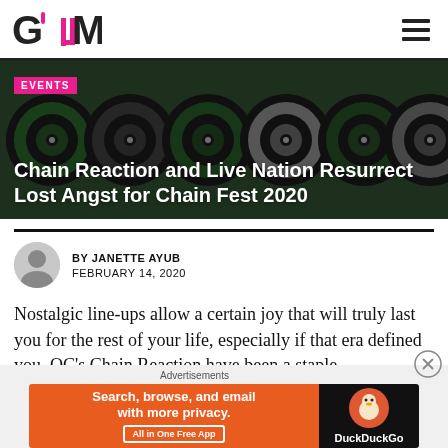GUM — navigation header with logo and hamburger menu
[Figure (photo): Hero banner with green and black vinyl records arranged in a row on a dark green background]
Chain Reaction and Live Nation Resurrect Lost Angst for Chain Fest 2020
BY JANETTE AYUB
FEBRUARY 14, 2020
Nostalgic line-ups allow a certain joy that will truly last you for the rest of your life, especially if that era defined you. OC's Chain Reaction have been a staple
[Figure (screenshot): DuckDuckGo advertisement banner: Search, browse, and email with more privacy. All in One Free App.]